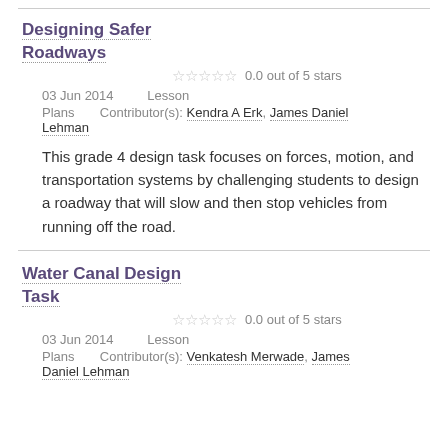Designing Safer Roadways
0.0 out of 5 stars
03 Jun 2014   Lesson Plans   Contributor(s): Kendra A Erk, James Daniel Lehman
This grade 4 design task focuses on forces, motion, and transportation systems by challenging students to design a roadway that will slow and then stop vehicles from running off the road.
Water Canal Design Task
0.0 out of 5 stars
03 Jun 2014   Lesson Plans   Contributor(s): Venkatesh Merwade, James Daniel Lehman